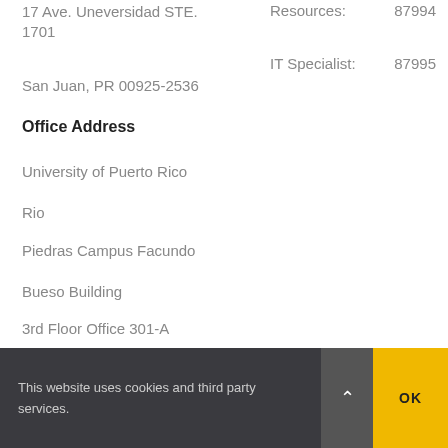17 Ave. Uneversidad STE. 1701
San Juan, PR 00925-2536
Resources: 87994
IT Specialist: 87995
Office Address
University of Puerto Rico
Rio
Piedras Campus Facundo
Bueso Building
3rd Floor Office 301-A
San Juan, PR, 00925
This website uses cookies and third party services.